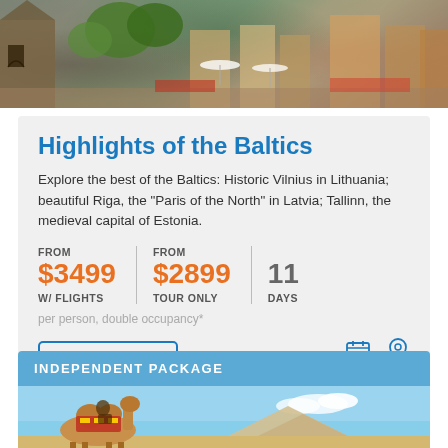[Figure (photo): Top banner photo showing a European town square with historic stone buildings, outdoor cafe seating with umbrellas, and greenery]
Highlights of the Baltics
Explore the best of the Baltics: Historic Vilnius in Lithuania; beautiful Riga, the “Paris of the North” in Latvia; Tallinn, the medieval capital of Estonia.
FROM
$3499
W/ FLIGHTS
FROM
$2899
TOUR ONLY
11
DAYS
per person, double occupancy*
SEE PACKAGE
dates
map
INDEPENDENT PACKAGE
[Figure (photo): Photo showing camels with colorful decorative saddle covers, pyramids visible in background under blue sky]